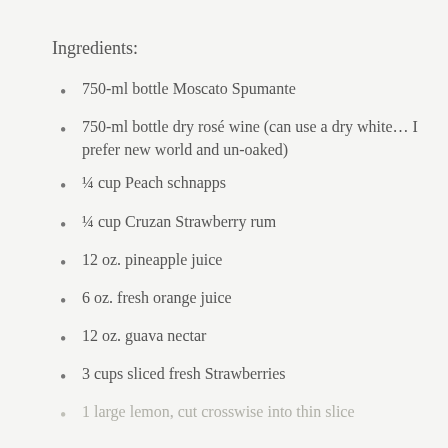Ingredients:
750-ml bottle Moscato Spumante
750-ml bottle dry rosé wine (can use a dry white… I prefer new world and un-oaked)
¼ cup Peach schnapps
¼ cup Cruzan Strawberry rum
12 oz. pineapple juice
6 oz. fresh orange juice
12 oz. guava nectar
3 cups sliced fresh Strawberries
2 large orange, cut crosswise into thinly sliced
1 large lemon, cut crosswise into thin slice